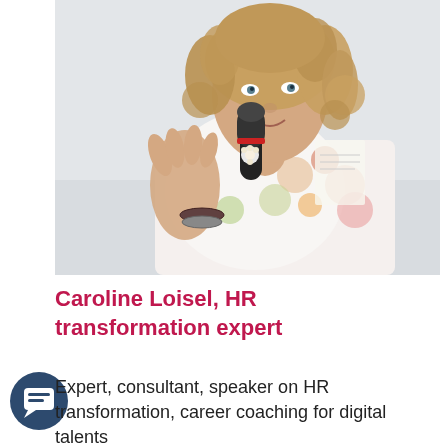[Figure (photo): A woman with curly blonde hair speaking into a black handheld microphone, wearing a floral sleeveless top and bracelets, gesturing with her left hand. Outdoor setting with light background.]
Caroline Loisel, HR transformation expert
Expert, consultant, speaker on HR transformation, career coaching for digital talents